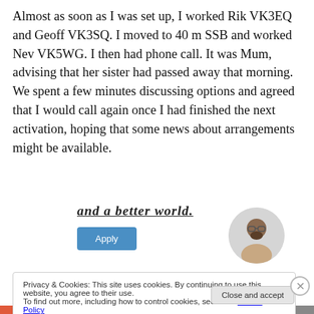Almost as soon as I was set up, I worked Rik VK3EQ and Geoff VK3SQ. I moved to 40 m SSB and worked Nev VK5WG. I then had phone call. It was Mum, advising that her sister had passed away that morning. We spent a few minutes discussing options and agreed that I would call again once I had finished the next activation, hoping that some news about arrangements might be available.
[Figure (other): Partially visible advertisement banner with bold underlined italic text (truncated), an Apply button, and a circular portrait photo of a man with glasses and beard on a light grey background.]
Privacy & Cookies: This site uses cookies. By continuing to use this website, you agree to their use.
To find out more, including how to control cookies, see here: Cookie Policy
Close and accept